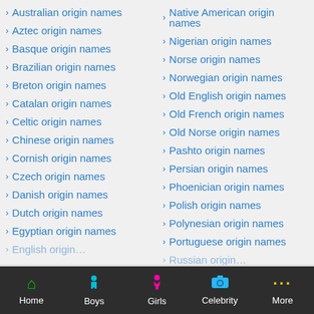> Australian origin names
> Native American origin names
> Aztec origin names
> Nigerian origin names
> Basque origin names
> Norse origin names
> Brazilian origin names
> Norwegian origin names
> Breton origin names
> Old English origin names
> Catalan origin names
> Old French origin names
> Celtic origin names
> Old Norse origin names
> Chinese origin names
> Pashto origin names
> Cornish origin names
> Persian origin names
> Czech origin names
> Phoenician origin names
> Danish origin names
> Polish origin names
> Dutch origin names
> Polynesian origin names
> Egyptian origin names
> Portuguese origin names
> English origin names
> Russian origin names
Home | Boys | Girls | Celebrity | More